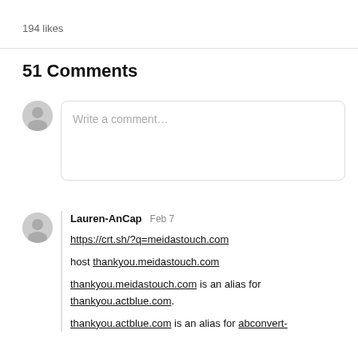194 likes
51 Comments
Write a comment...
Lauren-AnCap  Feb 7
https://crt.sh/?q=meidastouch.com

host thankyou.meidastouch.com

thankyou.meidastouch.com is an alias for thankyou.actblue.com.

thankyou.actblue.com is an alias for abconvert-